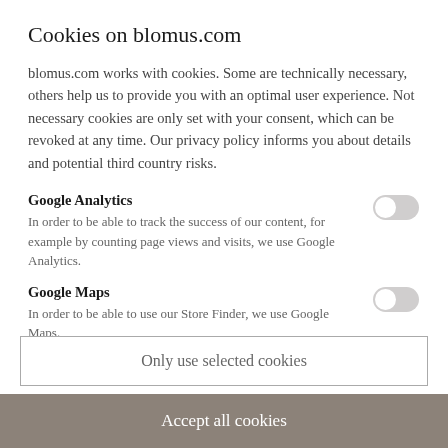Cookies on blomus.com
blomus.com works with cookies. Some are technically necessary, others help us to provide you with an optimal user experience. Not necessary cookies are only set with your consent, which can be revoked at any time. Our privacy policy informs you about details and potential third country risks.
Google Analytics
In order to be able to track the success of our content, for example by counting page views and visits, we use Google Analytics.
Google Maps
In order to be able to use our Store Finder, we use Google Maps.
Only use selected cookies
Accept all cookies